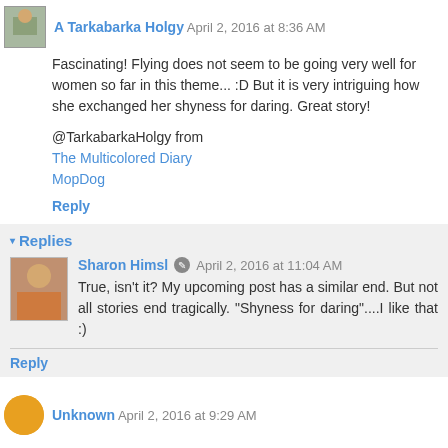A Tarkabarka Holgy April 2, 2016 at 8:36 AM
Fascinating! Flying does not seem to be going very well for women so far in this theme... :D But it is very intriguing how she exchanged her shyness for daring. Great story!
@TarkabarkaHolgy from
The Multicolored Diary
MopDog
Reply
Replies
Sharon Himsl April 2, 2016 at 11:04 AM
True, isn't it? My upcoming post has a similar end. But not all stories end tragically. "Shyness for daring"....I like that :)
Reply
Unknown April 2, 2016 at 9:29 AM